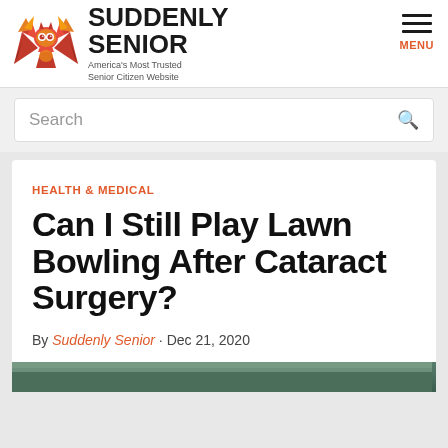[Figure (logo): Suddenly Senior logo with geometric owl in red/orange/yellow and bold brand name text]
Search
HEALTH & MEDICAL
Can I Still Play Lawn Bowling After Cataract Surgery?
By Suddenly Senior · Dec 21, 2020
[Figure (photo): Partial bottom strip of an outdoor/nature photo]